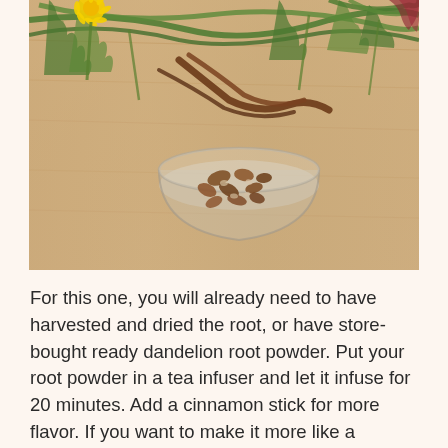[Figure (photo): Photo of dandelion plant with roots, leaves, and yellow flower, alongside a small glass bowl containing chopped dried dandelion root pieces, on a wooden surface]
For this one, you will already need to have harvested and dried the root, or have store-bought ready dandelion root powder. Put your root powder in a tea infuser and let it infuse for 20 minutes. Add a cinnamon stick for more flavor. If you want to make it more like a dandelion chai, feel free to add cloves & nutmeg. To make a really strong tea you can boil the root for longer, but it is not